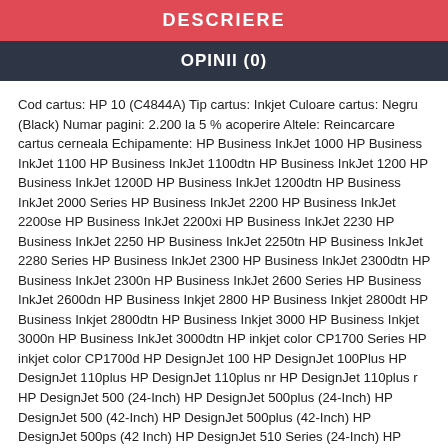DESCRIERE
OPINII (0)
Cod cartus: HP 10 (C4844A) Tip cartus: Inkjet Culoare cartus: Negru (Black) Numar pagini: 2.200 la 5 % acoperire Altele: Reincarcare cartus cerneala Echipamente: HP Business InkJet 1000 HP Business InkJet 1100 HP Business InkJet 1100dtn HP Business InkJet 1200 HP Business InkJet 1200D HP Business InkJet 1200dtn HP Business InkJet 2000 Series HP Business InkJet 2200 HP Business InkJet 2200se HP Business InkJet 2200xi HP Business InkJet 2230 HP Business InkJet 2250 HP Business InkJet 2250tn HP Business InkJet 2280 Series HP Business InkJet 2300 HP Business InkJet 2300dtn HP Business InkJet 2300n HP Business InkJet 2600 Series HP Business InkJet 2600dn HP Business Inkjet 2800 HP Business Inkjet 2800dt HP Business Inkjet 2800dtn HP Business Inkjet 3000 HP Business Inkjet 3000n HP Business InkJet 3000dtn HP inkjet color CP1700 Series HP inkjet color CP1700d HP DesignJet 100 HP DesignJet 100Plus HP DesignJet 110plus HP DesignJet 110plus nr HP DesignJet 110plus r HP DesignJet 500 (24-Inch) HP DesignJet 500plus (24-Inch) HP DesignJet 500 (42-Inch) HP DesignJet 500plus (42-Inch) HP DesignJet 500ps (42 Inch) HP DesignJet 510 Series (24-Inch) HP DesignJet 510 Series (42-Inch) HP DesignJet 70 HP DesignJet 800 (24-Inch) HP DesignJet 800 (42-Inch) HP DesignJet 800ps (24-Inch) HP DesignJet 800ps (42-Inch) HP Designjet 815mfp HP Designjet 820mfp HP DesignJet Colour Pro CAD HP DesignJet Colour Pro GA HP DeskJet 2000C Professional